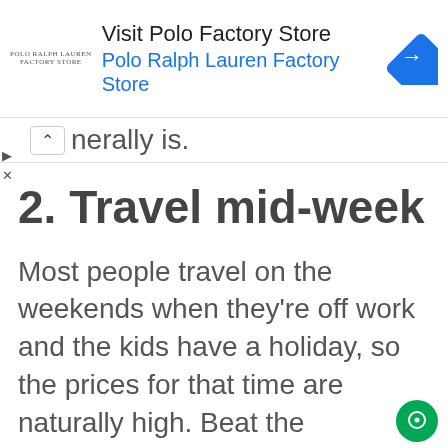[Figure (other): Advertisement banner for Polo Ralph Lauren Factory Store with logo, text 'Visit Polo Factory Store / Polo Ralph Lauren Factory Store', and a blue navigation icon]
nerally is.
2. Travel mid-week
Most people travel on the weekends when they're off work and the kids have a holiday, so the prices for that time are naturally high. Beat the